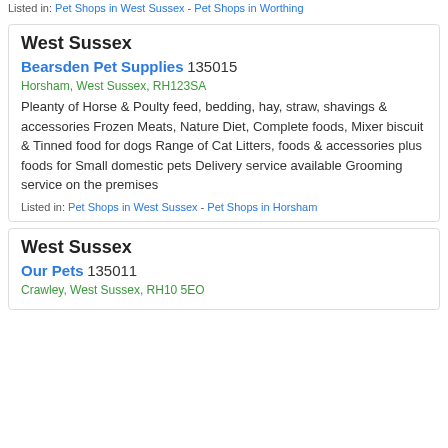Listed in: Pet Shops in West Sussex - Pet Shops in Worthing
West Sussex
Bearsden Pet Supplies 135015
Horsham, West Sussex, RH123SA
Pleanty of Horse & Poulty feed, bedding, hay, straw, shavings & accessories Frozen Meats, Nature Diet, Complete foods, Mixer biscuit & Tinned food for dogs Range of Cat Litters, foods & accessories plus foods for Small domestic pets Delivery service available Grooming service on the premises
Listed in: Pet Shops in West Sussex - Pet Shops in Horsham
West Sussex
Our Pets 135011
Crawley, West Sussex, RH10 5EO